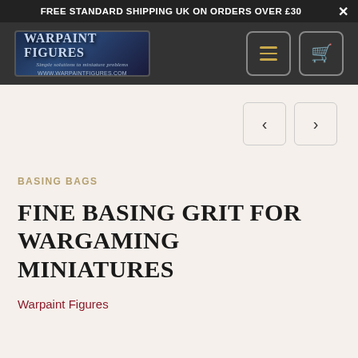FREE STANDARD SHIPPING UK ON ORDERS OVER £30  ×
[Figure (logo): Warpaint Figures logo with text 'Simple solutions to miniature problems' and www.warpaintfigures.com]
BASING BAGS
FINE BASING GRIT FOR WARGAMING MINIATURES
Warpaint Figures